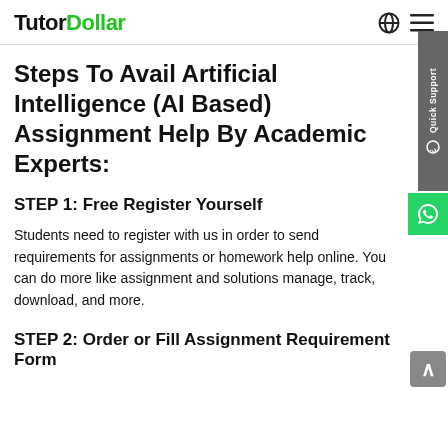TutorDollar
Steps To Avail Artificial Intelligence (AI Based) Assignment Help By Academic Experts:
STEP 1: Free Register Yourself
Students need to register with us in order to send requirements for assignments or homework help online. You can do more like assignment and solutions manage, track, download, and more.
STEP 2: Order or Fill Assignment Requirement Form